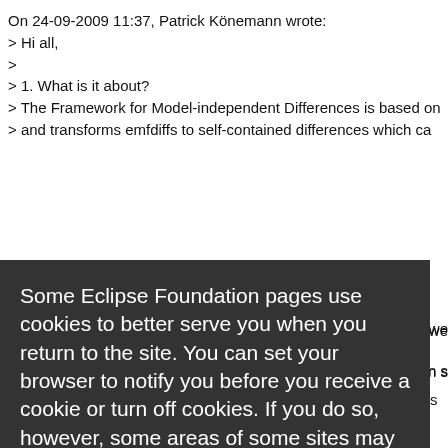On 24-09-2009 11:37, Patrick Könemann wrote:
> Hi all,
>
> 1. What is it about?
> The Framework for Model-independent Differences is based on
> and transforms emfdiffs to self-contained differences which ca
Some Eclipse Foundation pages use cookies to better serve you when you return to the site. You can set your browser to notify you before you receive a cookie or turn off cookies. If you do so, however, some areas of some sites may not function properly. To read Eclipse Foundation Privacy Policy
click here.
Decline
Allow cookies